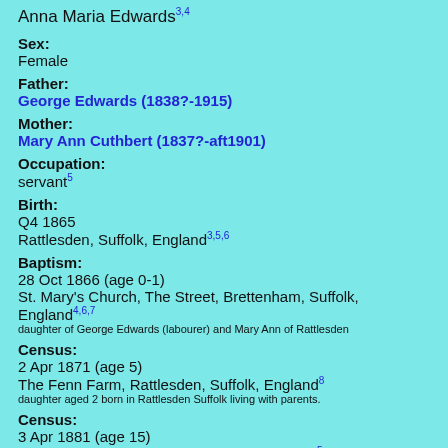Anna Maria Edwards
Sex:
Female
Father:
George Edwards (1838?-1915)
Mother:
Mary Ann Cuthbert (1837?-aft1901)
Occupation:
servant
Birth:
Q4 1865
Rattlesden, Suffolk, England
Baptism:
28 Oct 1866 (age 0-1)
St. Mary's Church, The Street, Brettenham, Suffolk, England
daughter of George Edwards (labourer) and Mary Ann of Rattlesden
Census:
2 Apr 1871 (age 5)
The Fenn Farm, Rattlesden, Suffolk, England
daughter aged 2 born in Rattlesden Suffolk living with parents.
Census:
3 Apr 1881 (age 15)
Rattlesden Fen, Rattlesden, Suffolk, England